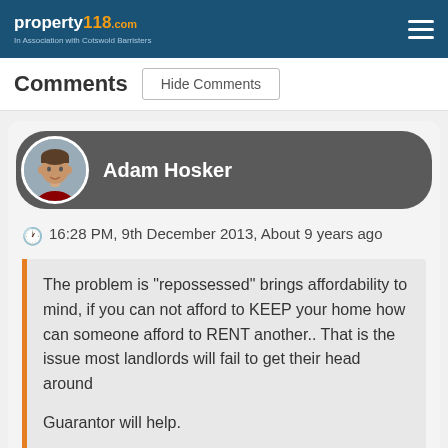property118.com — In Association with Cotswold Barristers
Comments
Hide Comments
Adam Hosker
16:28 PM, 9th December 2013, About 9 years ago
The problem is "repossessed" brings affordability to mind, if you can not afford to KEEP your home how can someone afford to RENT another.. That is the issue most landlords will fail to get their head around

Guarantor will help.